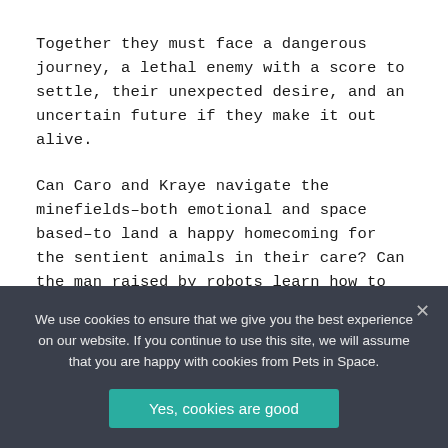Together they must face a dangerous journey, a lethal enemy with a score to settle, their unexpected desire, and an uncertain future if they make it out alive.
Can Caro and Kraye navigate the minefields–both emotional and space based–to land a happy homecoming for the sentient animals in their care? Can the man raised by robots learn how to kiss the girl while the starchy Marine decides if she is willing to bend the rules for a happy ever after?
Originally published in the Pets in Space 3 Anthology.
Purchase or Download
We use cookies to ensure that we give you the best experience on our website. If you continue to use this site, we will assume that you are happy with cookies from Pets in Space.